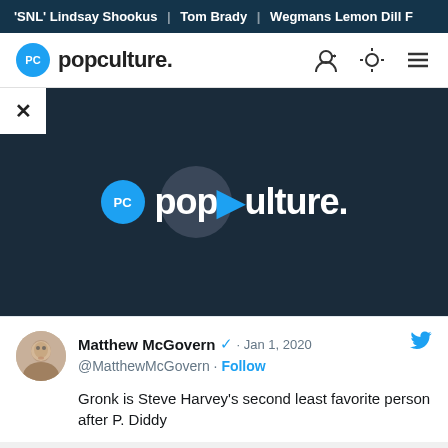'SNL' Lindsay Shookus | Tom Brady | Wegmans Lemon Dill F
[Figure (logo): Popculture.com navigation bar with logo and icons]
[Figure (screenshot): Video player showing popculture logo with play button on dark background, close button top-left]
Matthew McGovern · Jan 1, 2020
@MatthewMcGovern · Follow
Gronk is Steve Harvey's second least favorite person after P. Diddy